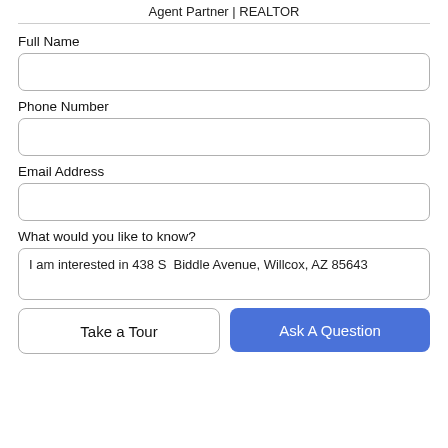Agent Partner | REALTOR
Full Name
Phone Number
Email Address
What would you like to know?
I am interested in 438 S  Biddle Avenue, Willcox, AZ 85643
Take a Tour
Ask A Question